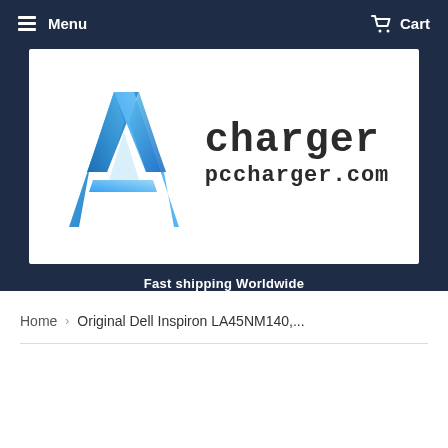Menu   Cart
[Figure (logo): A Charger logo with blue angular 'A' letter mark and text 'charger pccharger.com' in dark monospace font on white background]
Fast shipping Worldwide
Home › Original Dell Inspiron LA45NM140,...